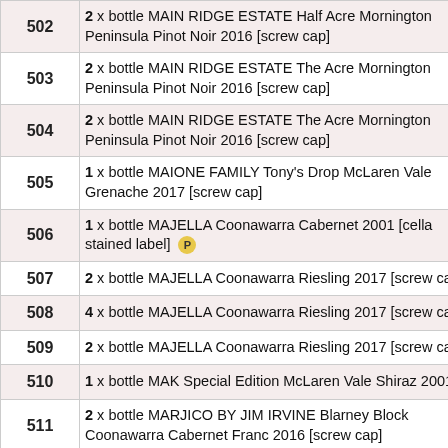| Lot | Description |
| --- | --- |
| 502 | 2 x bottle MAIN RIDGE ESTATE Half Acre Mornington Peninsula Pinot Noir 2016 [screw cap] |
| 503 | 2 x bottle MAIN RIDGE ESTATE The Acre Mornington Peninsula Pinot Noir 2016 [screw cap] |
| 504 | 2 x bottle MAIN RIDGE ESTATE The Acre Mornington Peninsula Pinot Noir 2016 [screw cap] |
| 505 | 1 x bottle MAIONE FAMILY Tony's Drop McLaren Vale Grenache 2017 [screw cap] |
| 506 | 1 x bottle MAJELLA Coonawarra Cabernet 2001 [cella stained label] P |
| 507 | 2 x bottle MAJELLA Coonawarra Riesling 2017 [screw cap] |
| 508 | 4 x bottle MAJELLA Coonawarra Riesling 2017 [screw cap] |
| 509 | 2 x bottle MAJELLA Coonawarra Riesling 2017 [screw cap] |
| 510 | 1 x bottle MAK Special Edition McLaren Vale Shiraz 2001 |
| 511 | 2 x bottle MARJICO BY JIM IRVINE Blarney Block Coonawarra Cabernet Franc 2016 [screw cap] |
| 512 | 1 x bottle MARTINS VINEYARD McLaren Vale Shi... |